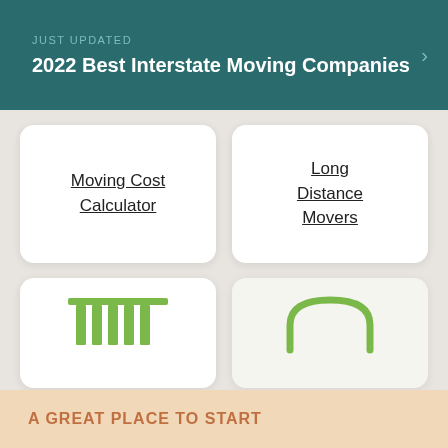JUST UPDATED
2022 Best Interstate Moving Companies
Moving Cost Calculator
Long Distance Movers
[Figure (illustration): Green icon of columns/bars resembling a building or chart]
[Figure (illustration): Green icon of an arch shape resembling a moving truck top]
See All
A GREAT PLACE TO START